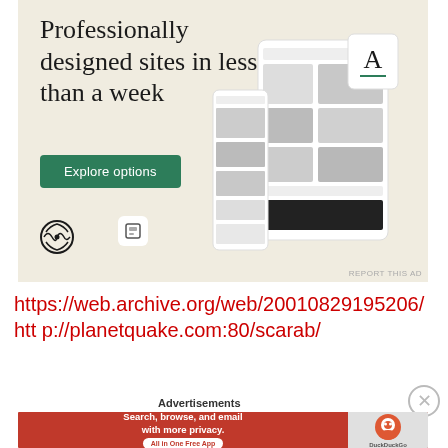[Figure (advertisement): WordPress advertisement banner with beige/cream background, headline 'Professionally designed sites in less than a week', green 'Explore options' button, WordPress logo, and mockup of website builder UI on right side.]
https://web.archive.org/web/20010829195206/http://planetquake.com:80/scarab/
Advertisements
[Figure (advertisement): DuckDuckGo advertisement: red background with text 'Search, browse, and email with more privacy. All in One Free App' on left, DuckDuckGo logo on grey right panel.]